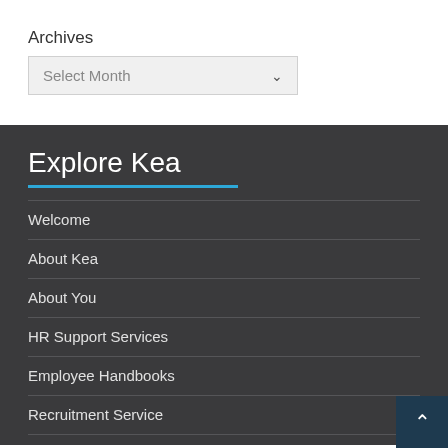Archives
Select Month
Explore Kea
Welcome
About Kea
About You
HR Support Services
Employee Handbooks
Recruitment Service
UK Employment Legislation Tracker
Tips and Tools for Managers of People